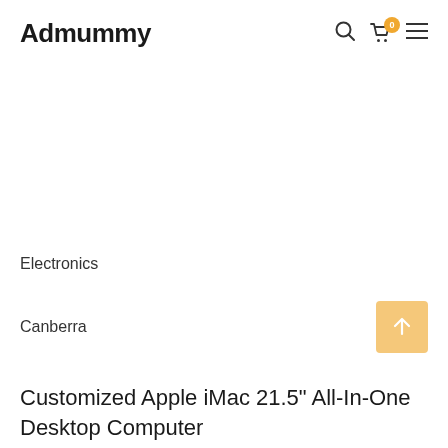Admummy
Electronics
Canberra
Customized Apple iMac 21.5" All-In-One Desktop Computer